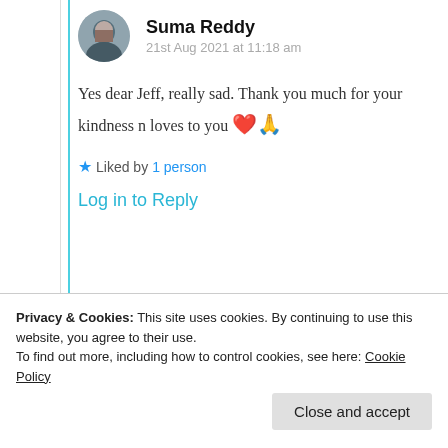Suma Reddy
21st Aug 2021 at 11:18 am
Yes dear Jeff, really sad. Thank you much for your kindness n loves to you ❤️🙏
★ Liked by 1 person
Log in to Reply
Privacy & Cookies: This site uses cookies. By continuing to use this website, you agree to their use.
To find out more, including how to control cookies, see here: Cookie Policy
Close and accept